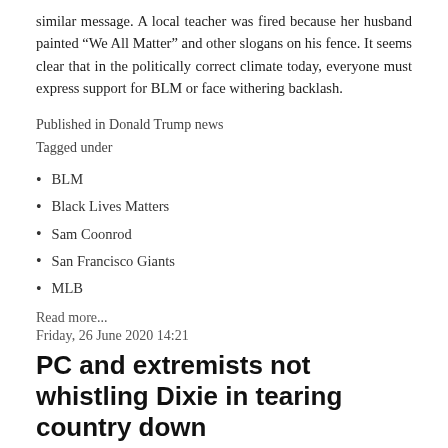similar message. A local teacher was fired because her husband painted “We All Matter” and other slogans on his fence. It seems clear that in the politically correct climate today, everyone must express support for BLM or face withering backlash.
Published in Donald Trump news
Tagged under
BLM
Black Lives Matters
Sam Coonrod
San Francisco Giants
MLB
Read more...
Friday, 26 June 2020 14:21
PC and extremists not whistling Dixie in tearing country down
[Figure (photo): Bottom portion of a photo showing a statue against a blue sky background]